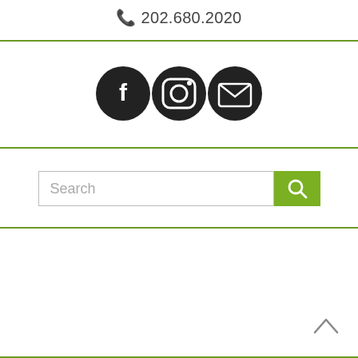202.680.2020
[Figure (infographic): Three social media icon circles: Facebook, Instagram, Email/envelope]
[Figure (other): Search bar with green search button and magnifying glass icon]
[Figure (other): Back to top chevron arrow icon in bottom right corner]